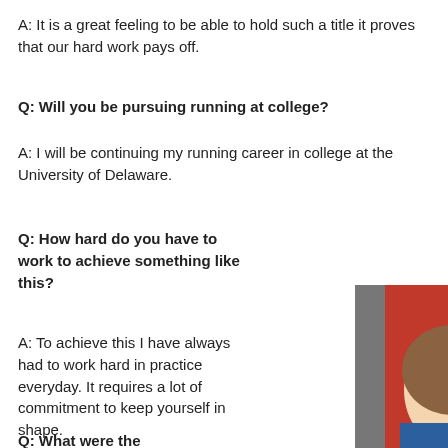A: It is a great feeling to be able to hold such a title it proves that our hard work pays off.
Q: Will you be pursuing running at college?
A: I will be continuing my running career in college at the University of Delaware.
Q: How hard do you have to work to achieve something like this?
A: To achieve this I have always had to work hard in practice everyday. It requires a lot of commitment to keep yourself in shape.
Q: What were the
[Figure (photo): Young woman with long brown hair smiling, wearing blue, with people in red jackets behind her. Social media action buttons (chat and like) overlaid on the right side.]